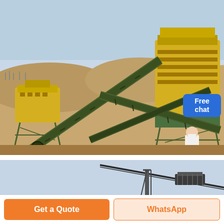[Figure (photo): Large mining/crushing plant with yellow and green industrial crusher machinery, conveyor belts, and scaffolding set in an open-pit quarry with sandy terrain and sparse trees in the background. A customer service representative (woman in white) with a blue 'Free chat' speech bubble is overlaid at the right side.]
[Figure (photo): Partial view of industrial conveyor/cable equipment against a pale blue sky, visible at the bottom section of the page.]
Free chat
Get a Quote
WhatsApp